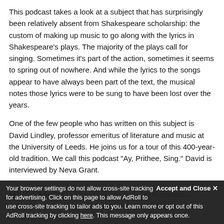This podcast takes a look at a subject that has surprisingly been relatively absent from Shakespeare scholarship: the custom of making up music to go along with the lyrics in Shakespeare's plays. The majority of the plays call for singing. Sometimes it's part of the action, sometimes it seems to spring out of nowhere. And while the lyrics to the songs appear to have always been part of the text, the musical notes those lyrics were to be sung to have been lost over the years.
One of the few people who has written on this subject is David Lindley, professor emeritus of literature and music at the University of Leeds. He joins us for a tour of this 400-year-old tradition. We call this podcast "Ay, Prithee, Sing." David is interviewed by Neva Grant.
——————————
NEVA GRANT: Could you tell me, how old is musical notation, as we know it today? Did they even have it in Elizabethan times?
DAVID LINDLEY: Oh, certainly, and had for two or three centuries beforehand, at least. I mean, there are traces of Greek notation, though nobody quite knows what they mean. But by the 14th century, notation was almost as quite complex. By the 15th century, it was largely quite as recognizable now.
Accept and Close ✕
Your browser settings do not allow cross-site tracking for advertising. Click on this page to allow AdRoll to use cross-site tracking to tailor ads to you. Learn more or opt out of this AdRoll tracking by clicking here. This message only appears once.